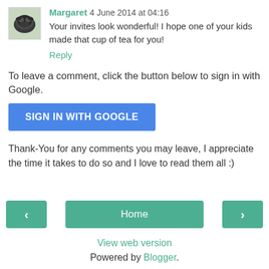Margaret 4 June 2014 at 04:16 — Your invites look wonderful! I hope one of your kids made that cup of tea for you! Reply
To leave a comment, click the button below to sign in with Google.
[Figure (other): SIGN IN WITH GOOGLE button (blue rounded rectangle)]
Thank-You for any comments you may leave, I appreciate the time it takes to do so and I love to read them all :)
[Figure (other): Navigation bar with left arrow button, Home button, and right arrow button (teal/green)]
View web version
Powered by Blogger.